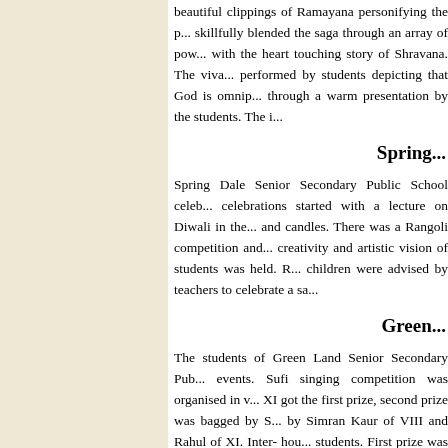beautiful clippings of Ramayana personifying the p... skillfully blended the saga through an array of pow... with the heart touching story of Shravana. The viva... performed by students depicting that God is omnip... through a warm presentation by the students. The i...
Spring...
Spring Dale Senior Secondary Public School celeb... celebrations started with a lecture on Diwali in the... and candles. There was a Rangoli competition and... creativity and artistic vision of students was held. ... children were advised by teachers to celebrate a sa...
Green...
The students of Green Land Senior Secondary Pub... events. Sufi singing competition was organised in... XI got the first prize, second prize was bagged by... by Simran Kaur of VIII and Rahul of XI. Inter- hou... students. First prize was won by Kirti and Jyoti ho... chairman-cum-director of the school.
Peace P...
Fun, frolic, enthusiasm and creativity drenched the... thronged with festive spirit. Students participated i... other to show case their creativity at best. Decorati...